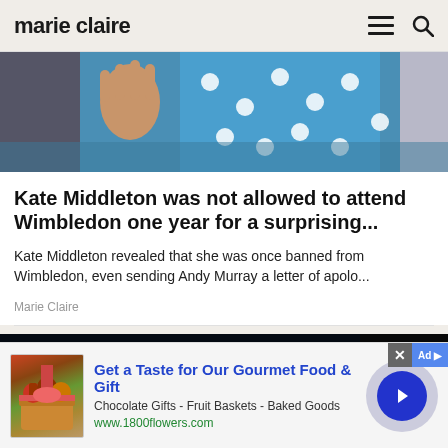marie claire
[Figure (photo): Photo of Kate Middleton in a blue polka dot dress, waving her hand]
Kate Middleton was not allowed to attend Wimbledon one year for a surprising...
Kate Middleton revealed that she was once banned from Wimbledon, even sending Andy Murray a letter of apolo...
Marie Claire
[Figure (photo): Dark image showing a hand, partially visible, against a dark background]
[Figure (illustration): Advertisement banner: Get a Taste for Our Gourmet Food & Gift. Chocolate Gifts - Fruit Baskets - Baked Goods. www.1800flowers.com]